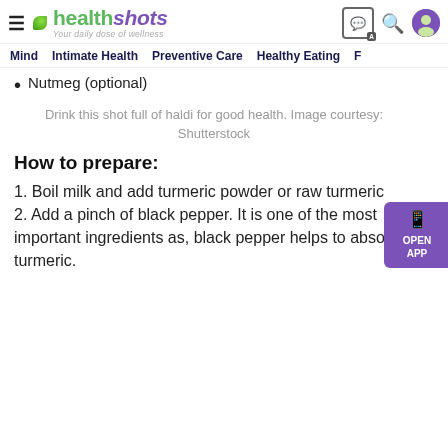healthshots — Your daily dose of wellness
Mind | Intimate Health | Preventive Care | Healthy Eating | F
Nutmeg (optional)
Drink this shot full of haldi for good health. Image courtesy: Shutterstock
How to prepare:
1. Boil milk and add turmeric powder or raw turmeric
2. Add a pinch of black pepper. It is one of the most important ingredients as, black pepper helps to absorb turmeric.